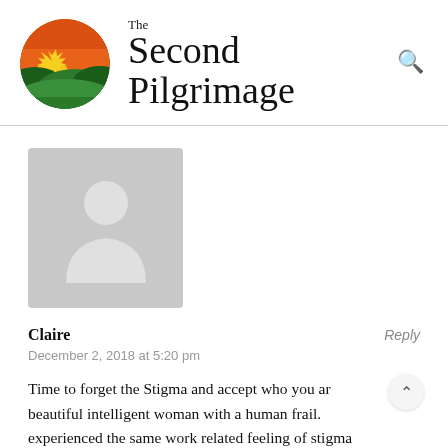[Figure (logo): The Second Pilgrimage website logo: circular icon with orange sky, yellow sun rays, green rolling hills; beside it the text 'The Second Pilgrimage' in serif font]
[Figure (photo): Generic grey avatar placeholder image showing silhouette of a person (head and shoulders), used as default user profile picture]
Claire
Reply
December 2, 2018 at 5:20 pm
Time to forget the Stigma and accept who you ar beautiful intelligent woman with a human frail. experienced the same work related feeling of stigma